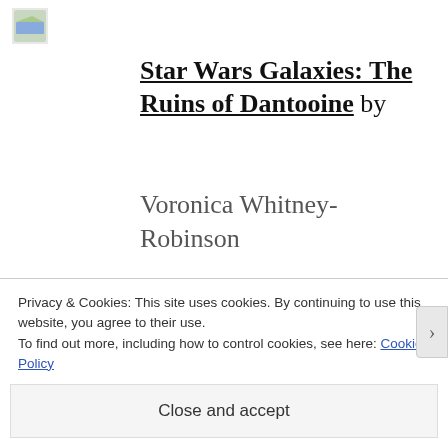[Figure (illustration): Small image icon (book cover thumbnail) in top-left corner]
Star Wars Galaxies: The Ruins of Dantooine by Voronica Whitney-Robinson
Buy: Kindle Store
Oh Star Wars. What’s up with this? A spinoff of the online MMORPG
Privacy & Cookies: This site uses cookies. By continuing to use this website, you agree to their use.
To find out more, including how to control cookies, see here: Cookie Policy
Close and accept